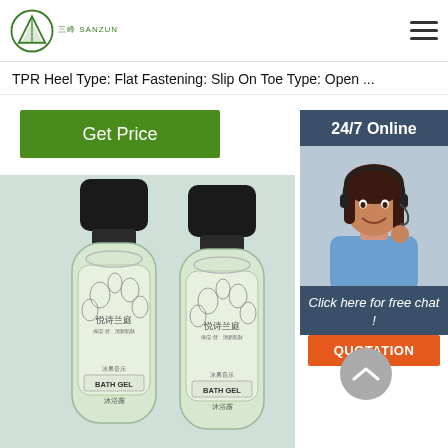SANZUN logo and navigation
TPR Heel Type: Flat Fastening: Slip On Toe Type: Open ...
Get Price
[Figure (infographic): 24/7 Online support panel with customer service representative photo, 'Click here for free chat!' text, and QUOTATION button]
[Figure (photo): Two bath gel bottles with black caps, floral label design, brand 悦诗兰庭, labeled BATH GEL 沐浴露, on mint green background]